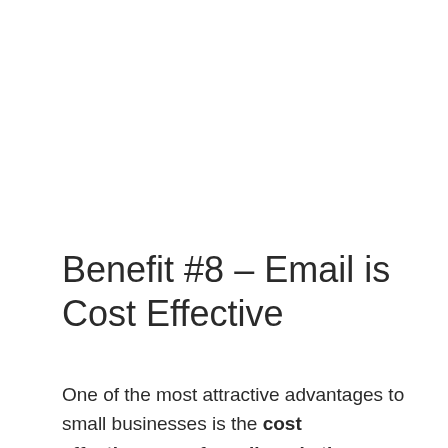Benefit #8 – Email is Cost Effective
One of the most attractive advantages to small businesses is the cost effectiveness of email marketing. Unlike direct marketing, there are no print costs, no mailing fees, no advertising rates, and